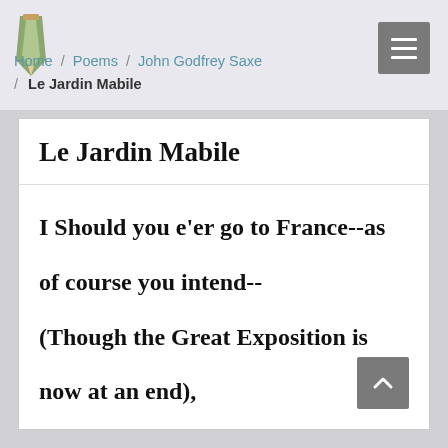Home / Poems / John Godfrey Saxe / Le Jardin Mabile
Le Jardin Mabile
I Should you e'er go to France--as of course you intend--
(Though the Great Exposition is now at an end),